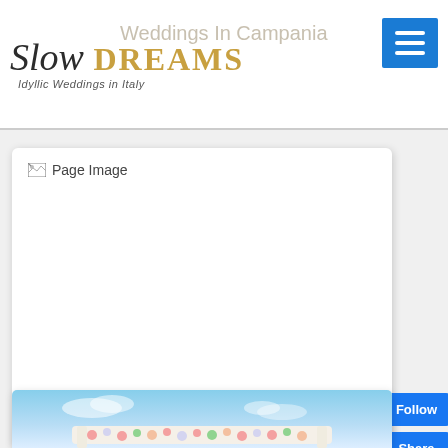Slow DREAMS – Idyllic Weddings in Italy
Weddings In Campania
[Figure (photo): Broken/missing page image placeholder for Weddings In Sicily card]
Weddings In Sicily
[Figure (photo): Partial photo of a floral arch against a blue sky, bottom of page]